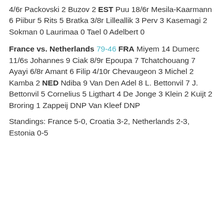4/6r Packovski 2 Buzov 2 EST Puu 18/6r Mesila-Kaarmann 6 Piibur 5 Rits 5 Bratka 3/8r Lilleallik 3 Perv 3 Kasemagi 2 Sokman 0 Laurimaa 0 Tael 0 Adelbert 0
France vs. Netherlands 79-46 FRA Miyem 14 Dumerc 11/6s Johannes 9 Ciak 8/9r Epoupa 7 Tchatchouang 7 Ayayi 6/8r Amant 6 Filip 4/10r Chevaugeon 3 Michel 2 Kamba 2 NED Ndiba 9 Van Den Adel 8 L. Bettonvil 7 J. Bettonvil 5 Cornelius 5 Ligthart 4 De Jonge 3 Klein 2 Kuijt 2 Broring 1 Zappeij DNP Van Kleef DNP
Standings: France 5-0, Croatia 3-2, Netherlands 2-3, Estonia 0-5